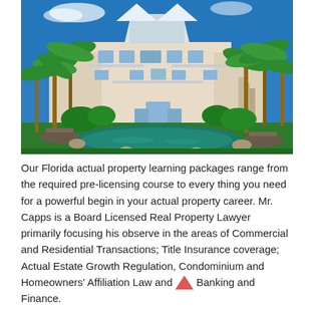[Figure (photo): Luxury Florida property with pool surrounded by palm trees and tropical landscaping, multi-story white mansion in background with balconies and large windows]
Our Florida actual property learning packages range from the required pre-licensing course to every thing you need for a powerful begin in your actual property career. Mr. Capps is a Board Licensed Real Property Lawyer primarily focusing his observe in the areas of Commercial and Residential Transactions; Title Insurance coverage; Actual Estate Growth Regulation, Condominium and Homeowners' Affiliation Law and Banking and Finance.